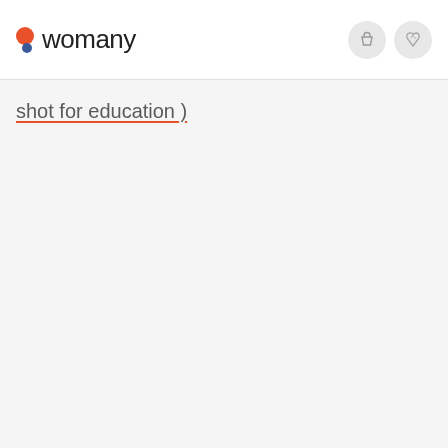[Figure (logo): Womany logo with orange and blue dots followed by the text 'womany']
shot for education )